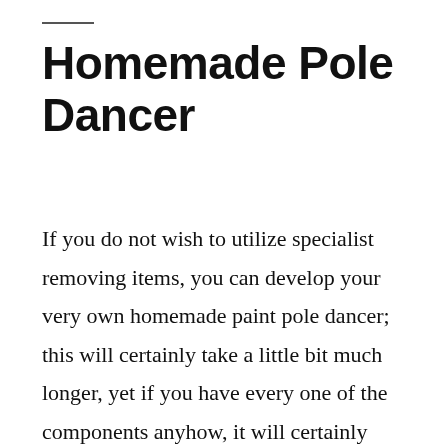Homemade Pole Dancer
If you do not wish to utilize specialist removing items, you can develop your very own homemade paint pole dancer; this will certainly take a little bit much longer, yet if you have every one of the components anyhow, it will certainly conserve you a journey to the shop. To develop your very own chemical pole dancer, mix 5 components